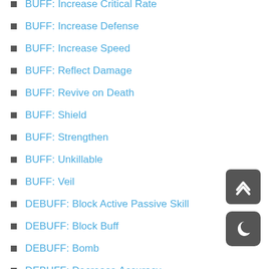BUFF: Increase Critical Rate
BUFF: Increase Defense
BUFF: Increase Speed
BUFF: Reflect Damage
BUFF: Revive on Death
BUFF: Shield
BUFF: Strengthen
BUFF: Unkillable
BUFF: Veil
DEBUFF: Block Active Passive Skill
DEBUFF: Block Buff
DEBUFF: Bomb
DEBUFF: Decrease Accuracy
DEBUFF: Decrease Attack
DEBUFF: Decrease Critical Damage
DEBUFF: Decrease Critical Rate
DEBUFF: Decrease Defense
DEBUFF: Decrease Speed
DEBUFF: Fear
DEBUFF: Freeze
DEBUFF: Heal Reduction
DEBUFF: Hex
DEBUFF: HP Burn
DEBUFF: Leech
DEBUFF: Poison
DEBUFF: Poison Sensitivity